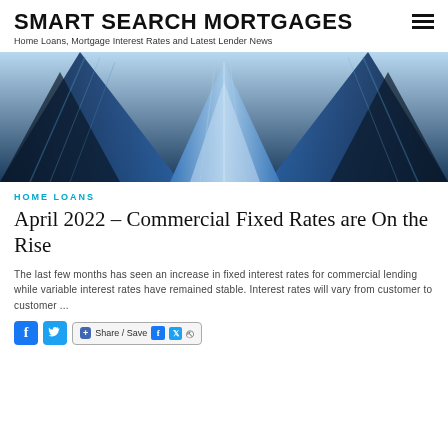SMART SEARCH MORTGAGES — Home Loans, Mortgage Interest Rates and Latest Lender News
[Figure (photo): Upward view of tall blue glass skyscraper buildings against a blue sky]
HOME LOANS
April 2022 – Commercial Fixed Rates are On the Rise
The last few months has seen an increase in fixed interest rates for commercial lending while variable interest rates have remained stable. Interest rates will vary from customer to customer ...
[Figure (infographic): Social sharing bar with Facebook icon, Twitter icon, and Share/Save button with Facebook, Twitter, and export icons]